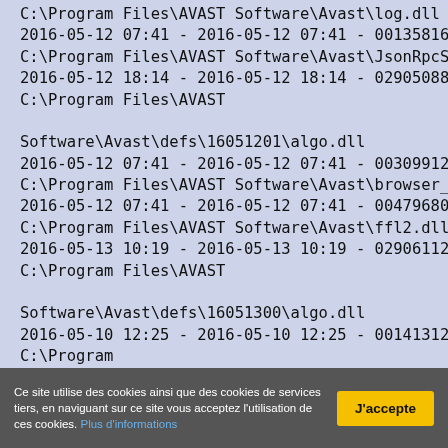C:\Program Files\AVAST Software\Avast\log.dll
2016-05-12 07:41 - 2016-05-12 07:41 - 00135816 _____ ()
C:\Program Files\AVAST Software\Avast\JsonRpcServer.dll
2016-05-12 18:14 - 2016-05-12 18:14 - 02905088 _____ ()
C:\Program Files\AVAST Software\Avast\defs\16051201\algo.dll
2016-05-12 07:41 - 2016-05-12 07:41 - 00309912 _____ ()
C:\Program Files\AVAST Software\Avast\browser_pass.dll
2016-05-12 07:41 - 2016-05-12 07:41 - 00479680 _____ ()
C:\Program Files\AVAST Software\Avast\ffl2.dll
2016-05-13 10:19 - 2016-05-13 10:19 - 02906112 _____ ()
C:\Program Files\AVAST Software\Avast\defs\16051300\algo.dll
2016-05-10 12:25 - 2016-05-10 12:25 - 00141312 _____ ()
C:\Program Files\WindowsApps\Microsoft.Messaging_2.15.20002.0_x86__8wek
2016-05-10 12:25 - 2016-05-10 12:25 - 22284800 _____ ()
C:\Program Files\WindowsApps\Microsoft.Messaging_2.15.20002.0_x86__8wek
Ce site utilise des cookies ainsi que des cookies de services tiers, en naviguant sur ce site vous acceptez l'utilisation de ces cookies. Plus d'informations
J'accepte